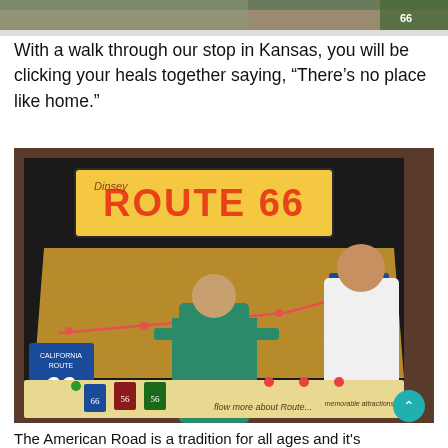[Figure (photo): Top portion of a photo, partially cropped, showing an outdoor area with green signage visible at top right.]
With a walk through our stop in Kansas, you will be clicking your heals together saying, “There’s no place like home.”
[Figure (photo): Photo of two people standing in front of a large Route 66 display board/map at what appears to be a Disney attraction. The board shows a US map with Route 66 marked and various stops including California, Illinois, Cadillac Ranch, and other landmarks. A California Route 66 shield sign is visible on the left and an Illinois Route 66 shield on the right. The display has a lower panel with additional information and small Route 66 signs.]
The American Road is a tradition for all ages and it’s